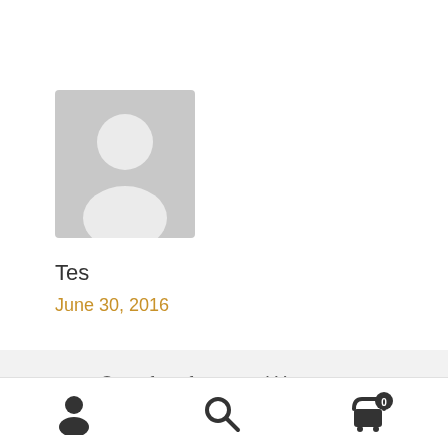[Figure (illustration): Grey placeholder avatar icon showing a silhouetted person]
Tes
June 30, 2016
One of my fav posts ! Your vulnerable, brave, full of life and love for those deepest and closest to you! You words touch souls and challenge our minds in little yet sometimes profound ways ! Keep inspiring Amanda and be encourage as you keep
[Figure (infographic): Bottom navigation bar with user icon, search icon, and cart icon with badge showing 0]